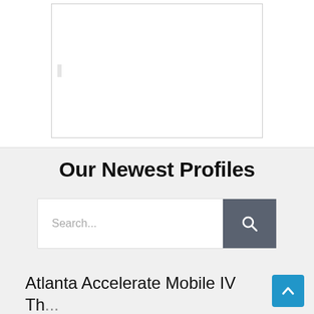[Figure (screenshot): White card/panel with border on white background, partially visible, with a small gray rectangle element on the left side]
Our Newest Profiles
[Figure (screenshot): Search bar with placeholder text 'Search...' and a dark gray search button with magnifying glass icon]
Atlanta Accelerate Mobile IV Th...